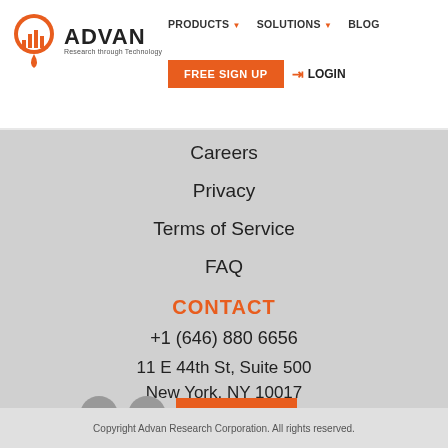[Figure (logo): Advan Research through Technology logo with orange map pin icon containing a bar chart]
PRODUCTS ▾  SOLUTIONS ▾  BLOG  FREE SIGN UP  LOGIN
Careers
Privacy
Terms of Service
FAQ
CONTACT
+1 (646) 880 6656
11 E 44th St, Suite 500
New York, NY 10017
[Figure (logo): Twitter and LinkedIn social media icons, and CONTACT US button]
Copyright Advan Research Corporation. All rights reserved.